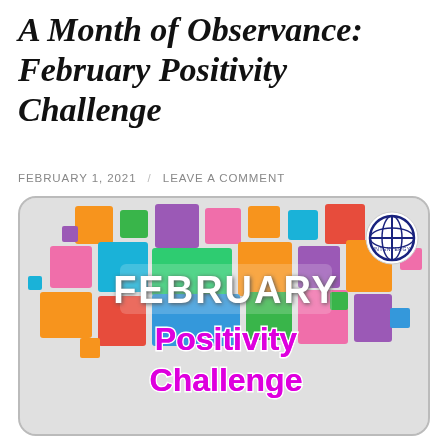A Month of Observance: February Positivity Challenge
FEBRUARY 1, 2021  /  LEAVE A COMMENT
[Figure (illustration): A colorful graphic with the word FEBRUARY in white bold text over a mosaic of colored squares (pink, orange, yellow, green, teal, blue, purple), and below it 'Positivity Challenge' in bold magenta outlined text, all on a light gray rounded-rectangle background. An Intentergy logo appears in the top-right corner.]